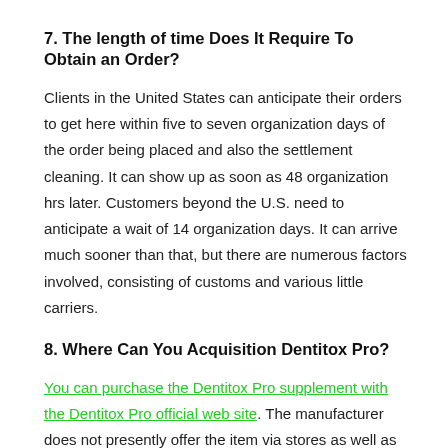7. The length of time Does It Require To Obtain an Order?
Clients in the United States can anticipate their orders to get here within five to seven organization days of the order being placed and also the settlement cleaning. It can show up as soon as 48 organization hrs later. Customers beyond the U.S. need to anticipate a wait of 14 organization days. It can arrive much sooner than that, but there are numerous factors involved, consisting of customs and various little carriers.
8. Where Can You Acquisition Dentitox Pro?
You can purchase the Dentitox Pro supplement with the Dentitox Pro official web site. The manufacturer does not presently offer the item via stores as well as various other third parties.